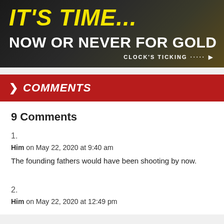[Figure (illustration): Advertisement banner with dark background showing mining truck and gold. Text reads 'IT'S TIME...' in yellow italic bold font, 'NOW OR NEVER FOR GOLD' in white bold font, and 'CLOCK'S TICKING ····· ▶' in white text at bottom right.]
❯ COMMENTS
9 Comments
1.
Him on May 22, 2020 at 9:40 am
The founding fathers would have been shooting by now.
2.
Him on May 22, 2020 at 12:49 pm